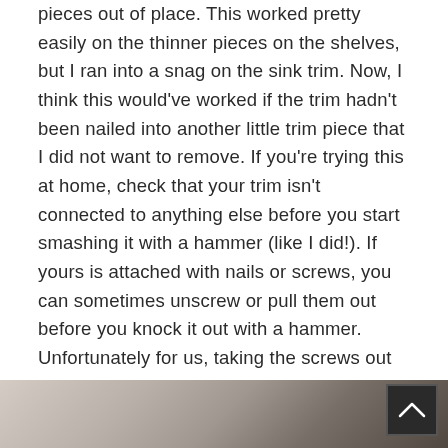pieces out of place. This worked pretty easily on the thinner pieces on the shelves, but I ran into a snag on the sink trim. Now, I think this would've worked if the trim hadn't been nailed into another little trim piece that I did not want to remove. If you're trying this at home, check that your trim isn't connected to anything else before you start smashing it with a hammer (like I did!). If yours is attached with nails or screws, you can sometimes unscrew or pull them out before you knock it out with a hammer. Unfortunately for us, taking the screws out did not help. We had to use an oscillating tool to saw the trim of as neatly as possible. After that, we sanded the area smooth and touched up the paint
[Figure (photo): Partial view of a bathroom or furniture surface with trim, showing neutral/beige tones with dark diagonal elements]